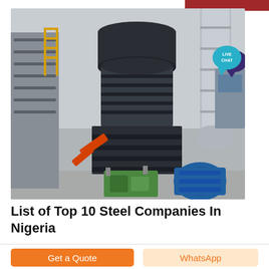[Figure (photo): Industrial steel machinery — large dark cylindrical mill/grinder equipment with orange arm, green hydraulic unit, blue motor, and silver ducting in a factory setting. Live Chat badge overlay in top-right corner.]
List of Top 10 Steel Companies In Nigeria
Get a Quote
WhatsApp